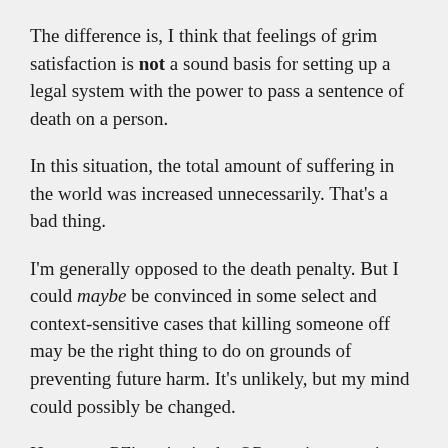The difference is, I think that feelings of grim satisfaction is not a sound basis for setting up a legal system with the power to pass a sentence of death on a person.
In this situation, the total amount of suffering in the world was increased unnecessarily. That's a bad thing.
I'm generally opposed to the death penalty. But I could maybe be convinced in some select and context-sensitive cases that killing someone off may be the right thing to do on grounds of preventing future harm. It's unlikely, but my mind could possibly be changed.
However: PZ's point in the OP remains a pertinent one. There are known ways of killing someone gently using chemicals, softly drifting away into the night. Even if you convinced me that it may be necessary for someone